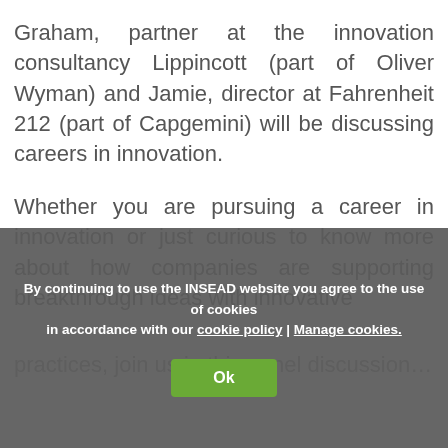Graham, partner at the innovation consultancy Lippincott (part of Oliver Wyman) and Jamie, director at Fahrenheit 212 (part of Capgemini) will be discussing careers in innovation.
Whether you are pursuing a career in innovation or just curious to know more about how companies are supporting breakthrough ideas with innovative practices, join us in this panel discussion...
By continuing to use the INSEAD website you agree to the use of cookies in accordance with our cookie policy | Manage cookies.